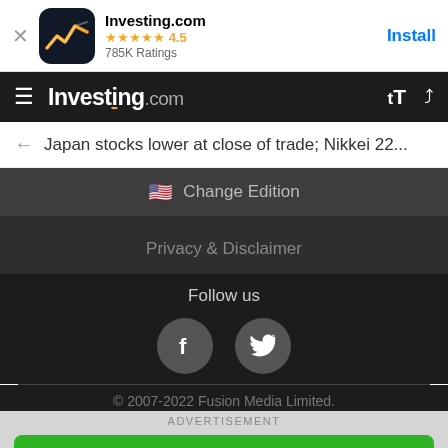[Figure (screenshot): App store banner for Investing.com app with icon, star rating 4.5, 785K Ratings, and Install button]
Investing.com
Japan stocks lower at close of trade; Nikkei 22...
Change Edition
Privacy & Disclaimer
Follow us
© 2007-2022 Fusion Media Limited.
ADVERTISEMENT
Start Trading
| AD |